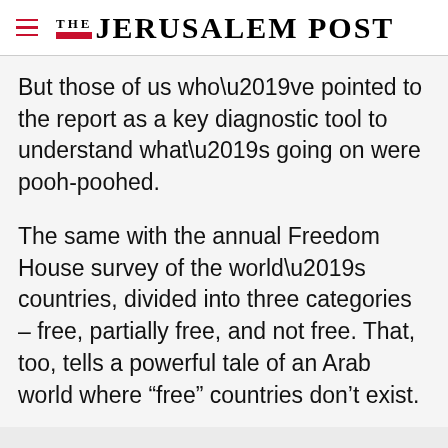THE JERUSALEM POST
But those of us who’ve pointed to the report as a key diagnostic tool to understand what’s going on were pooh-poohed.
The same with the annual Freedom House survey of the world’s countries, divided into three categories – free, partially free, and not free. That, too, tells a powerful tale of an Arab world where “free” countries don’t exist.
Advertisement